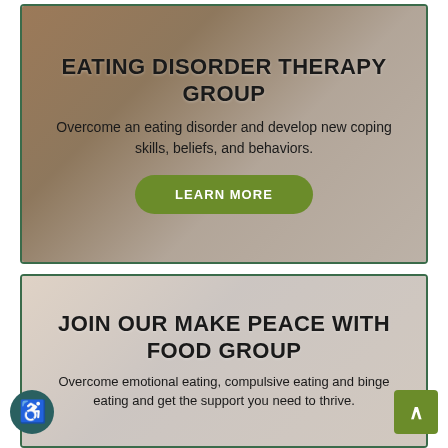[Figure (photo): Card with background image of a heart-shaped bowl of food (noodle/grain dish) with a spoon on a dark surface, with a semi-transparent overlay]
EATING DISORDER THERAPY GROUP
Overcome an eating disorder and develop new coping skills, beliefs, and behaviors.
[Figure (photo): Card with background image of two smiling people (women laughing together), with a light overlay]
JOIN OUR MAKE PEACE WITH FOOD GROUP
Overcome emotional eating, compulsive eating and binge eating and get the support you need to thrive.